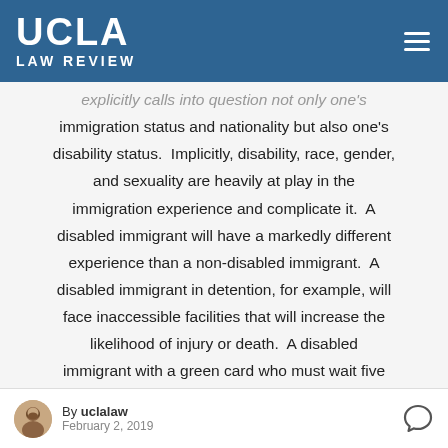UCLA LAW REVIEW
explicitly calls into question not only one's immigration status and nationality but also one's disability status. Implicitly, disability, race, gender, and sexuality are heavily at play in the immigration experience and complicate it. A disabled immigrant will have a markedly different experience than a non-disabled immigrant. A disabled immigrant in detention, for example, will face inaccessible facilities that will increase the likelihood of injury or death. A disabled immigrant with a green card who must wait five
By uclalaw
February 2, 2019